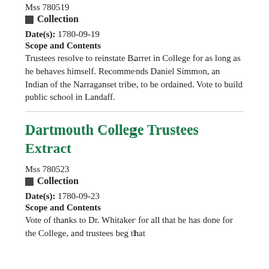Mss 780519
Collection
Date(s): 1780-09-19
Scope and Contents
Trustees resolve to reinstate Barret in College for as long as he behaves himself. Recommends Daniel Simmon, an Indian of the Narraganset tribe, to be ordained. Vote to build public school in Landaff.
Dartmouth College Trustees Extract
Mss 780523
Collection
Date(s): 1780-09-23
Scope and Contents
Vote of thanks to Dr. Whitaker for all that he has done for the College, and trustees beg that